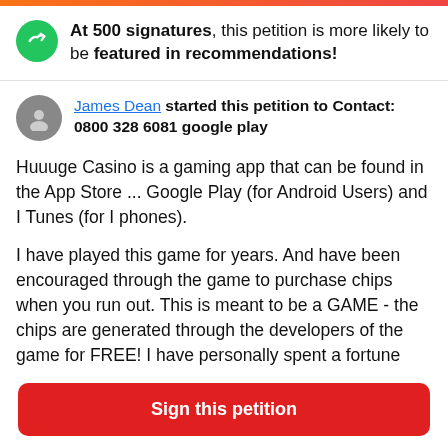[Figure (other): Top gradient bar in orange-red]
At 500 signatures, this petition is more likely to be featured in recommendations!
James Dean started this petition to Contact: 0800 328 6081 google play
Huuuge Casino is a gaming app that can be found in the App Store ... Google Play (for Android Users) and I Tunes (for I phones).
I have played this game for years.  And have been encouraged through the game to purchase chips when you run out.   This is meant to be a GAME - the chips are generated through the developers of the game for FREE! I have personally spent a fortune here trying to keep playing to help 'the club's' to get
Sign this petition